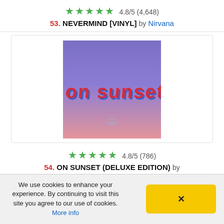★★★★★ 4.8/5 (4,648)
53. NEVERMIND [VINYL] by Nirvana
[Figure (illustration): Album cover for 'On Sunset' — purple-to-pink gradient background with stylized red/blue 3D-effect text reading 'on sunset' and a small mountain/sun logo at the bottom center]
★★★★★ 4.8/5 (786)
54. ON SUNSET (DELUXE EDITION) by
We use cookies to enhance your experience. By continuing to visit this site you agree to our use of cookies. More info